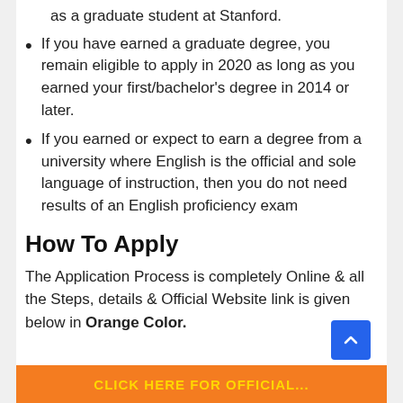as a graduate student at Stanford.
If you have earned a graduate degree, you remain eligible to apply in 2020 as long as you earned your first/bachelor's degree in 2014 or later.
If you earned or expect to earn a degree from a university where English is the official and sole language of instruction, then you do not need results of an English proficiency exam
How To Apply
The Application Process is completely Online & all the Steps, details & Official Website link is given below in Orange Color.